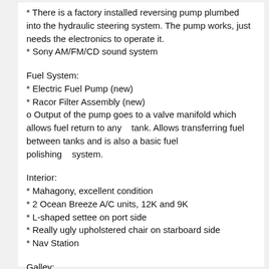* There is a factory installed reversing pump plumbed into the hydraulic steering system. The pump works, just needs the electronics to operate it.
* Sony AM/FM/CD sound system
Fuel System:
* Electric Fuel Pump (new)
* Racor Filter Assembly (new)
o Output of the pump goes to a valve manifold which allows fuel return to any    tank. Allows transferring fuel between tanks and is also a basic fuel polishing    system.
Interior:
* Mahagony, excellent condition
* 2 Ocean Breeze A/C units, 12K and 9K
* L-shaped settee on port side
* Really ugly upholstered chair on starboard side
* Nav Station
Galley:
* Under Counter Mini Fridge, 4 cu ft
o The original built in fridge was a nightmare to access anything. Cut it out and replaced with a under counter 110 AC mini fridge on its own inverter.
* Nova Kool 4.5 cu ft top loading freezer